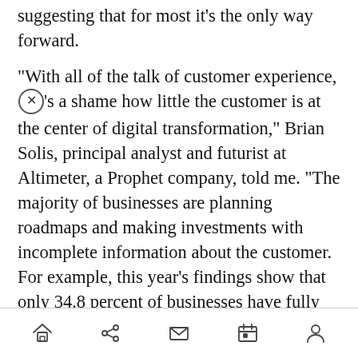suggesting that for most it's the only way forward.
“With all of the talk of customer experience, it’s a shame how little the customer is at the center of digital transformation,” Brian Solis, principal analyst and futurist at Altimeter, a Prophet company, told me. “The majority of businesses are planning roadmaps and making investments with incomplete information about the customer. For example, this year’s findings show that only 34.8 percent of businesses have fully mapped the customer journey within the last year — down from 54 percent last year.”
Fortunately, the study also includes some good news, such as it is.
[navigation bar with home, share, mail, calendar, and person icons]